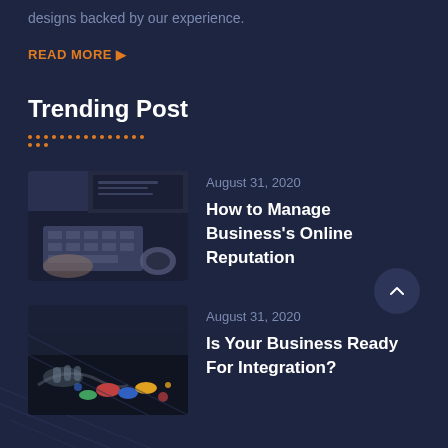designs backed by our experience.
READ MORE ▶
Trending Post
August 31, 2020 – How to Manage Business's Online Reputation
August 31, 2020 – Is Your Business Ready For Integration?